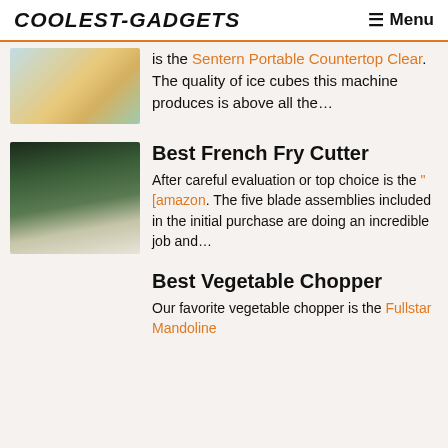COOLEST-GADGETS   ☰ Menu
is the Sentern Portable Countertop Clear. The quality of ice cubes this machine produces is above all the...
Best French Fry Cutter
After careful evaluation or top choice is the "[amazon. The five blade assemblies included in the initial purchase are doing an incredible job and...
Best Vegetable Chopper
Our favorite vegetable chopper is the Fullstar Mandoline